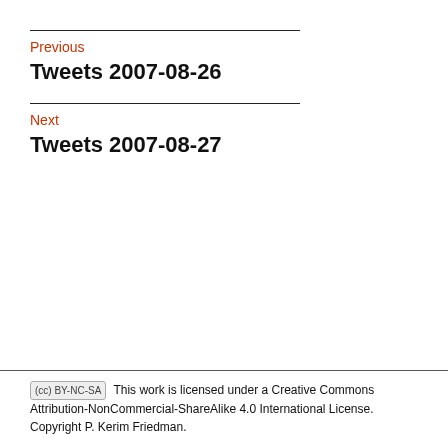Previous
Tweets 2007-08-26
Next
Tweets 2007-08-27
This work is licensed under a Creative Commons Attribution-NonCommercial-ShareAlike 4.0 International License. Copyright P. Kerim Friedman.